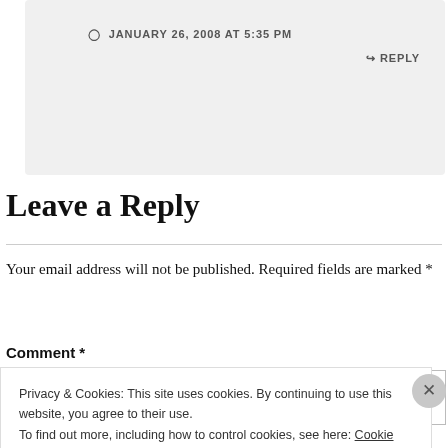JANUARY 26, 2008 AT 5:35 PM
↳ REPLY
Leave a Reply
Your email address will not be published. Required fields are marked *
Comment *
Privacy & Cookies: This site uses cookies. By continuing to use this website, you agree to their use.
To find out more, including how to control cookies, see here: Cookie Policy
Close and accept